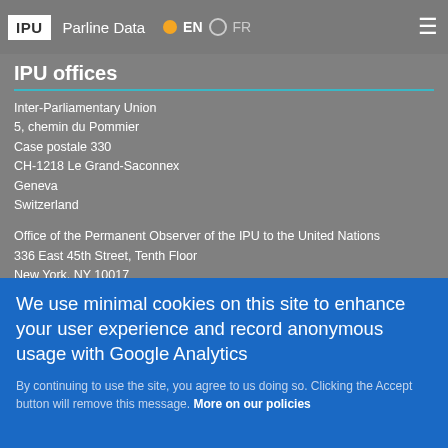IPU | Parline Data | EN | FR
IPU offices
Inter-Parliamentary Union
5, chemin du Pommier
Case postale 330
CH-1218 Le Grand-Saconnex
Geneva
Switzerland
Office of the Permanent Observer of the IPU to the United Nations
336 East 45th Street, Tenth Floor
New York, NY 10017
United States of America
Office of the Permanent Observer of the IPU to the United Nations
We use minimal cookies on this site to enhance your user experience and record anonymous usage with Google Analytics
By continuing to use the site, you agree to us doing so. Clicking the Accept button will remove this message. More on our policies